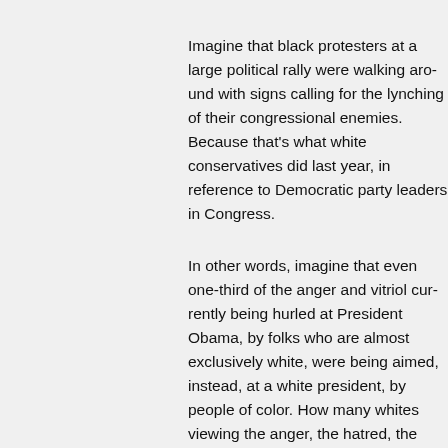Imagine that black protesters at a large political rally were walking around with signs calling for the lynching of their congressional enemies. Because that's what white conservatives did last year, in reference to Democratic party leaders in Congress.
In other words, imagine that even one-third of the anger and vitriol currently being hurled at President Obama, by folks who are almost exclusively white, were being aimed, instead, at a white president, by people of color. How many whites viewing the anger, the hatred, the contempt for that white president would then wax eloquent about free speech, and the glories of democracy? And how many would be calling for further crackdowns on thuggish behavior, and investigations into the radical agendas of those same people of color?
To ask any of these questions is to answer them. Protest is only seen as fundamentally American when those who have long had the luxury of seeing themselves as prototypically American engage in it. When the dangerous, dark “other” does so, however, it isn't viewed as normal or natural, let alone patriotic. Which is why Rush Limbaugh could say, this past week, that Tea Parties are the first time since the Civil War that ordinary, common Americans stood up for their rights: a statement that erases the normalcy and “Americanness” of blacks in the civil rights struggle, not to mention women in the